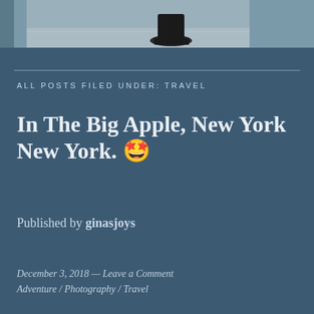[Figure (photo): Cropped photo showing legs/boots of a person standing on a floor, only the lower portion visible]
ALL POSTS FILED UNDER: TRAVEL
In The Big Apple, New York New York. 🤩
Published by ginasjoys
December 3, 2018 — Leave a Comment
Adventure / Photography / Travel